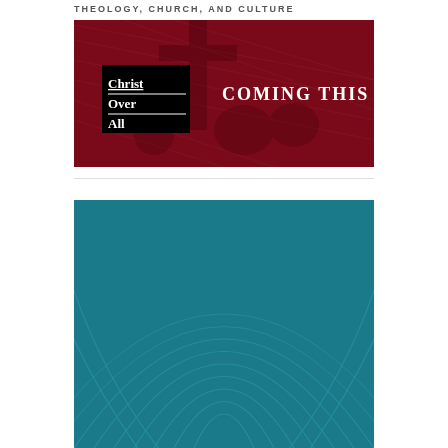THEOLOGY, CHURCH, AND CULTURE
[Figure (illustration): Dark red/crimson banner image showing a religious scene of Christ carrying the cross (etching/engraving style). On the left side is a black box with white text reading 'Christ Over All' with horizontal dividing lines. On the right side in large white serif letters: 'COMING THIS FALL']
[Figure (illustration): Teal/dark cyan banner image with subtle concentric arc line patterns forming an arch/rainbow shape in the center, creating a geometric decorative background design.]